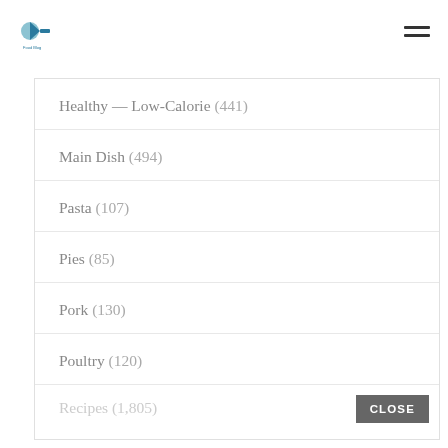Logo and navigation header
Healthy — Low-Calorie (441)
Main Dish (494)
Pasta (107)
Pies (85)
Pork (130)
Poultry (120)
Recipes (1,805)
Salads (5)